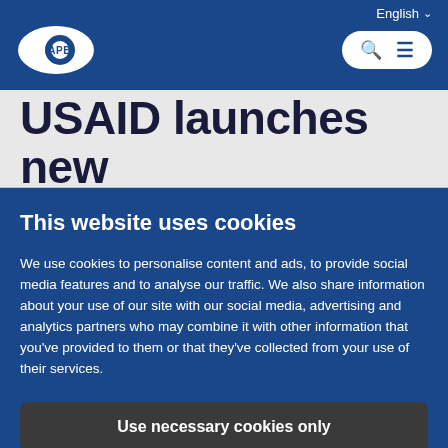English
[Figure (logo): IAPB logo — eye icon with IAPB text inside]
USAID launches new
This website uses cookies
We use cookies to personalise content and ads, to provide social media features and to analyse our traffic. We also share information about your use of our site with our social media, advertising and analytics partners who may combine it with other information that you've provided to them or that they've collected from your use of their services.
Use necessary cookies only
Allow all cookies